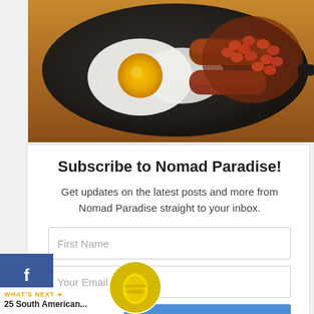[Figure (photo): A cast iron skillet with fried eggs, sausages, and baked beans on a wooden table — a full English breakfast.]
Subscribe to Nomad Paradise!
Get updates on the latest posts and more from Nomad Paradise straight to your inbox.
First Name
Your Email...
SUBSCRIBE
I consent to receiving emails and personalized ads.
WHAT'S NEXT → 25 South American...